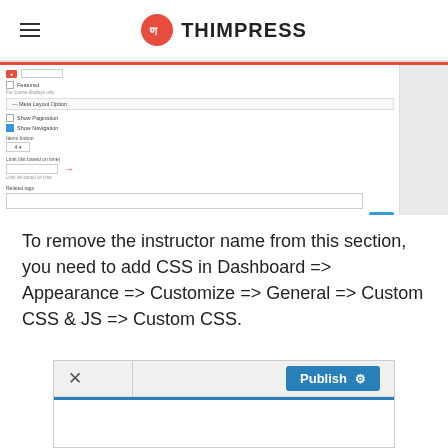THIMPRESS
[Figure (screenshot): WordPress admin dashboard screenshot showing settings panel with Featured checkbox, Meta Layout Options section, Show Pagination and Show Navigation checkboxes, Items select, and Limit list based on time input with a red arrow pointing to input field, and Related Tags textarea at the bottom with Save button]
To remove the instructor name from this section, you need to add CSS in Dashboard => Appearance => Customize => General => Custom CSS & JS => Custom CSS.
[Figure (screenshot): WordPress Customizer bottom bar showing an X close button on the left and a blue Publish button with gear icon on the right]